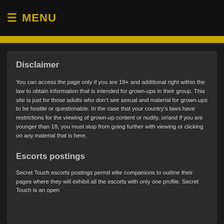≡ MENU
Disclaimer
You can access the page only if you are 18+ and additional right within the law to obtain information that is intended for grown-ups in their group. This site is just for those adults who don't see sexual and material for grown-ups to be hostile or questionable. In the case that your country's laws have restrictions for the viewing of grown-up content or nudity, or/and if you are younger than 18, you must stop from going further with viewing or clicking on any material that is here.
Escorts postings
Secret Touch escorts postings permit elite companions to outline their pages where they will exhibit all the escorts with only one profile. Secret Touch is an open